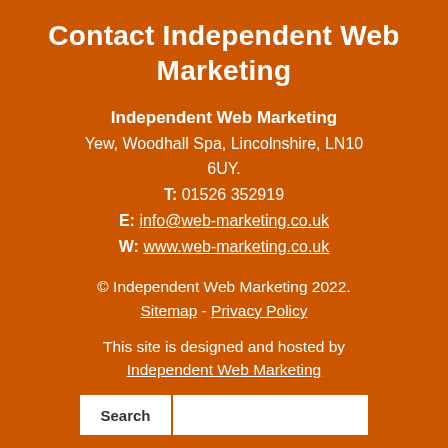Contact Independent Web Marketing
Independent Web Marketing
Yew, Woodhall Spa, Lincolnshire, LN10 6UY.
T: 01526 352919
E: info@web-marketing.co.uk
W: www.web-marketing.co.uk
© Independent Web Marketing 2022.
Sitemap - Privacy Policy
This site is designed and hosted by Independent Web Marketing
Search [input field]
Home | About Us | Services | Websites | Rates | Examples | Site Marketing | Cloud Email |